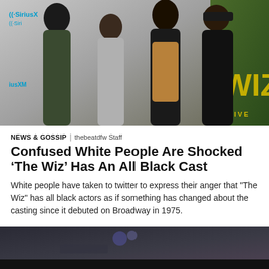[Figure (photo): Four Black individuals posing together in front of a SiriusXM step-and-repeat banner. Two men flank two women. A decorative The Wiz Live background is visible on the right side.]
NEWS & GOSSIP  |  thebeatdfw Staff
Confused White People Are Shocked ‘The Wiz’ Has An All Black Cast
White people have taken to twitter to express their anger that "The Wiz" has all black actors as if something has changed about the casting since it debuted on Broadway in 1975.
[Figure (photo): Partial image of a second article photo, appears to show a nighttime or dark scene.]